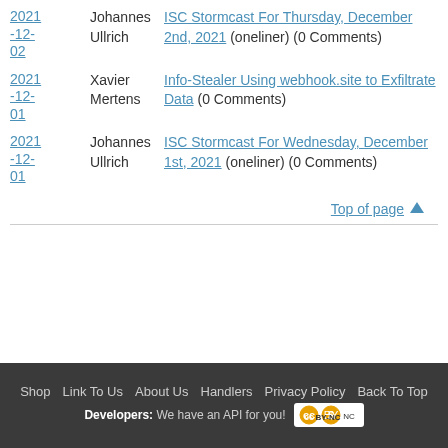2021-12-02 | Johannes Ullrich | ISC Stormcast For Thursday, December 2nd, 2021 (oneliner) (0 Comments)
2021-12-01 | Xavier Mertens | Info-Stealer Using webhook.site to Exfiltrate Data (0 Comments)
2021-12-01 | Johannes Ullrich | ISC Stormcast For Wednesday, December 1st, 2021 (oneliner) (0 Comments)
Top of page ↑
Shop | Link To Us | About Us | Handlers | Privacy Policy | Back To Top | Developers: We have an API for you!